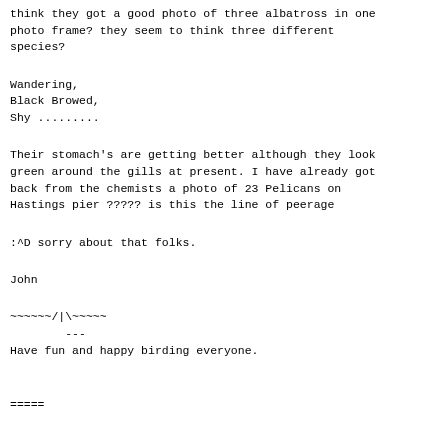think they got a good photo of three albatross in one photo frame? they seem to think three different species?
Wandering,
Black Browed,
Shy .........
Their stomach's are getting better although they look green around the gills at present. I have already got back from the chemists a photo of 23 Pelicans on Hastings pier ????? is this the line of peerage
:^D sorry about that folks.
John
~~~~~~/|\~~~~~
        ---
Have fun and happy birding everyone.
=====
Do You Yahoo!?
Get personalized email addresses from Yahoo! Mail
http://personal.mail.yahoo.com/
Birding-Aus is on the Web at
www.shc.melb.catholic.edu.au/home/birding/index.html